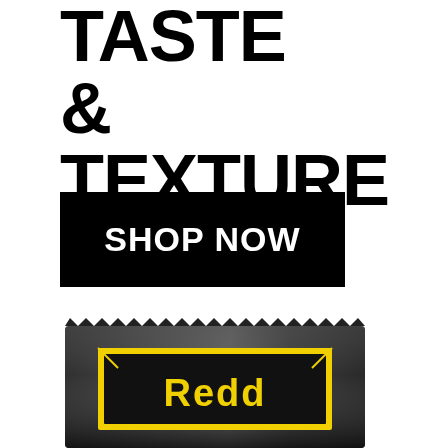TASTE & TEXTURE
SHOP NOW
[Figure (photo): Black foil packet product labeled 'Redd' with yellow square logo on black background, with serrated top edge]